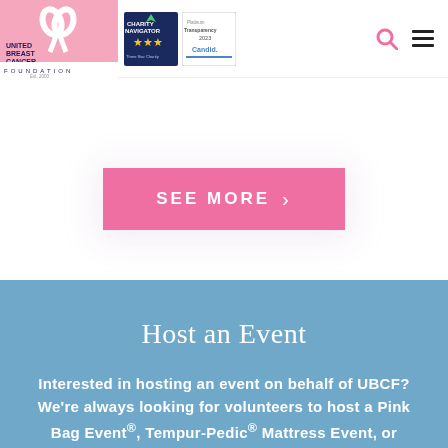[Figure (logo): United Breast Cancer Foundation logo with pink ribbon, text UNITED BREAST CANCER FOUNDATION EST. 2000, Charity Navigator three-star badge, and Candid Platinum Transparency 2023 badge]
[Figure (other): Pink 'SEE MORE >' button]
Host an Event
Interested in hosting an event on behalf of UBCF? We're always looking for volunteers to host a Pink Bag Event®, Tempur-Pedic® Mattress Event, or